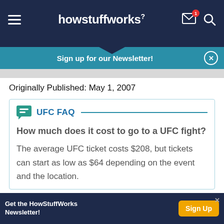howstuffworks
Sign up for our Newsletter!
Originally Published: May 1, 2007
UFC FAQ
How much does it cost to go to a UFC fight?
The average UFC ticket costs $208, but tickets can start as low as $64 depending on the event and the location.
Get the HowStuffWorks Newsletter!